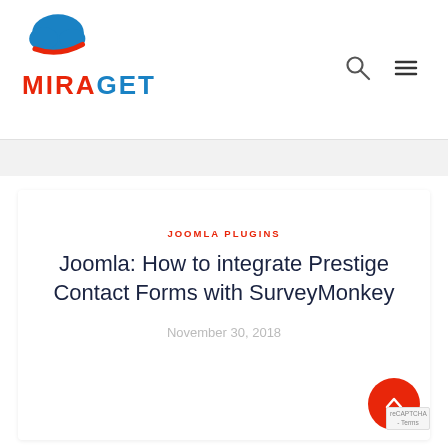[Figure (logo): Miraget logo with blue cloud graphic above red and blue text reading MIRAGET]
[Figure (infographic): Search icon (magnifying glass) and hamburger menu icon in top right]
JOOMLA PLUGINS
Joomla: How to integrate Prestige Contact Forms with SurveyMonkey
November 30, 2018